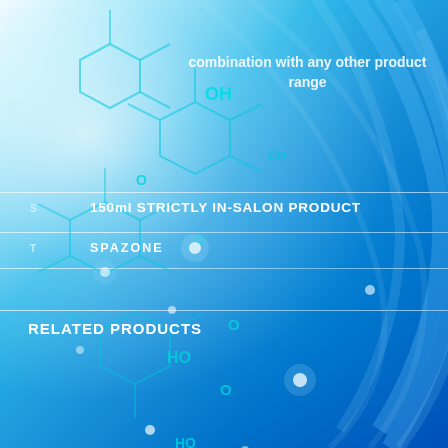[Figure (illustration): Blue science/chemistry themed background with molecular structure diagrams (hexagonal chemical bonds with OH, O, HO labels) overlaid on a bright blue abstract background with gear-like curved shapes and glowing light effects]
combination with any other product range
150ml STRICTLY IN-SALON PRODUCT
SPAZONE
RELATED PRODUCTS